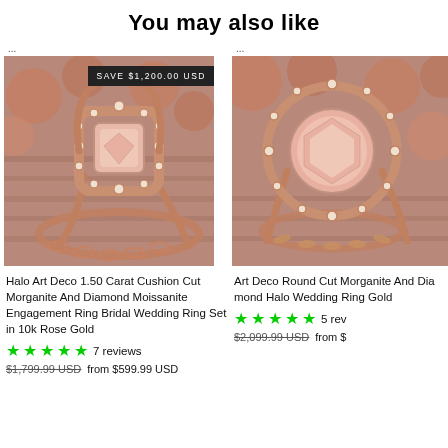You may also like
[Figure (photo): Rose gold halo engagement ring with cushion cut morganite and diamond moissanite, with a matching wedding band, displayed on wooden surface with roses in background. Save badge: SAVE $1,200.00 USD]
Halo Art Deco 1.50 Carat Cushion Cut Morganite And Diamond Moissanite Engagement Ring Bridal Wedding Ring Set in 10k Rose Gold
7 reviews
$1,799.99 USD  from $599.99 USD
[Figure (photo): Art Deco round cut morganite and diamond halo wedding ring in rose gold, partially cropped on right side, with roses in background]
Art Deco Round Cut Morganite And Diamond Halo Wedding Ring Gold
5 rev
$2,099.99 USD  from $